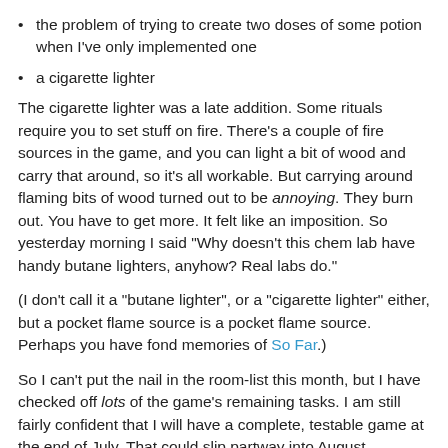the problem of trying to create two doses of some potion when I've only implemented one
a cigarette lighter
The cigarette lighter was a late addition. Some rituals require you to set stuff on fire. There's a couple of fire sources in the game, and you can light a bit of wood and carry that around, so it's all workable. But carrying around flaming bits of wood turned out to be annoying. They burn out. You have to get more. It felt like an imposition. So yesterday morning I said "Why doesn't this chem lab have handy butane lighters, anyhow? Real labs do."
(I don't call it a "butane lighter", or a "cigarette lighter" either, but a pocket flame source is a pocket flame source. Perhaps you have fond memories of So Far.)
So I can't put the nail in the room-list this month, but I have checked off lots of the game's remaining tasks. I am still fairly confident that I will have a complete, testable game at the end of July. That could slip partway into August, because